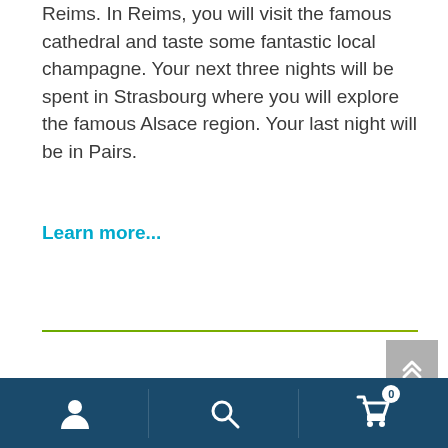Reims. In Reims, you will visit the famous cathedral and taste some fantastic local champagne. Your next three nights will be spent in Strasbourg where you will explore the famous Alsace region. Your last night will be in Pairs.
Learn more...
[Figure (screenshot): Mobile app bottom navigation bar with user icon, search icon, and cart icon with badge showing 0]